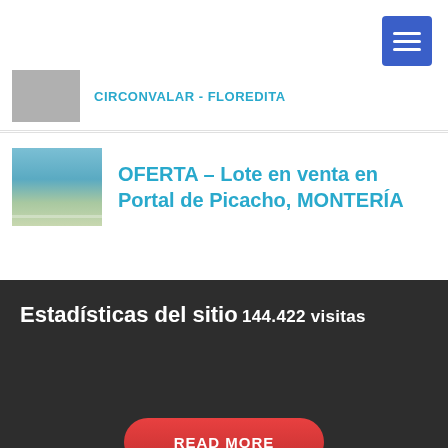[Figure (screenshot): Hamburger menu button (dark blue/purple square with three white lines)]
CIRCONVALAR - FLOREDITA
[Figure (photo): Thumbnail photo of a swimming pool area]
OFERTA - Lote en venta en Portal de Picacho, MONTERÍA
Estadísticas del sitio
144.422 visitas
[Figure (other): Red rounded button partially visible at bottom with text READ MORE]